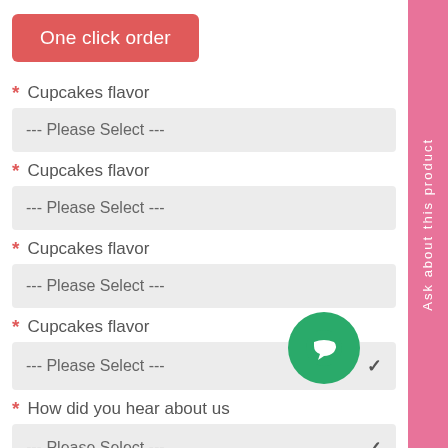One click order
* Cupcakes flavor
--- Please Select ---
* Cupcakes flavor
--- Please Select ---
* Cupcakes flavor
--- Please Select ---
* Cupcakes flavor
--- Please Select ---
* How did you hear about us
--- Please Select ---
[Figure (other): Green circular chat/support button icon]
Ask about this product